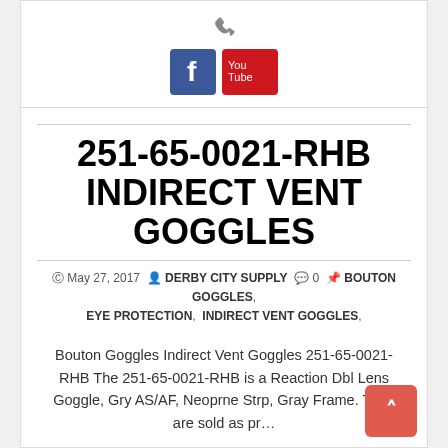[Figure (logo): Social media icons area showing a phone icon, Facebook icon (blue square with 'f'), and YouTube icon (red rectangle with 'You Tube' text)]
251-65-0021-RHB INDIRECT VENT GOGGLES
May 27, 2017  DERBY CITY SUPPLY  0  BOUTON GOGGLES, EYE PROTECTION, INDIRECT VENT GOGGLES,
Bouton Goggles Indirect Vent Goggles 251-65-0021-RHB The 251-65-0021-RHB is a Reaction Dbl Lens Goggle, Gry AS/AF, Neoprne Strp, Gray Frame. They are sold as pr…